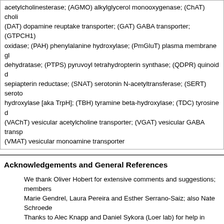acetylcholinesterase; (AGMO) alkylglycerol monooxygenase; (ChAT) choli... (DAT) dopamine reuptake transporter; (GAT) GABA transporter; (GTPCH1)... oxidase; (PAH) phenylalanine hydroxylase; (PmGluT) plasma membrane gl... dehydratase; (PTPS) pyruvoyl tetrahydropterin synthase; (QDPR) quinoid d... sepiapterin reductase; (SNAT) serotonin N-acetyltransferase; (SERT) seroto... hydroxylase [aka TrpH]; (TBH) tyramine beta-hydroxylase; (TDC) tyrosine d... (VAChT) vesicular acetylcholine transporter; (VGAT) vesicular GABA transp... (VMAT) vesicular monoamine transporter
Acknowledgements and General References
We thank Oliver Hobert for extensive comments and suggestions; members Marie Gendrel, Laura Pereira and Esther Serrano-Saiz; also Nate Schroede... Thanks to Alec Knapp and Daniel Sykora (Loer lab) for help in proof-reading... version).
Beside primary sources listed in the table above, other sites and reviews of assembling this information, including the following:
Hobert, O (2013) The neuronal genome of C. elegans, in WormBook Community, doi/10.1895/wormbook.1.161.1.
Nass R, Blakely RD (2003) The C. elegans dopaminergic system: c... transport and neurodegeneration. Annu. Rev. Pharmacol. Toxicol. 43
Pereira L, Kratsios P, Serrano-Saiz E, Sheftel H, Mayo AE, Hall DH, Hobert O (2015) A cellular and regulatory map of the cholinergic ner... e12432.
Rand JB, Nonet M (1997) 'Appendix 2 Neurotransmitter Assignment... the NCBI Bookshelf (originally published 1997 by Cold Spring Harbor...
Rand JB, Duerr JS, Frisby DL (2000). Neurogenetics of vesicular tra... 14: 2414-2422.
Other WormBook chapters in the Neurobiology & Behavior section.